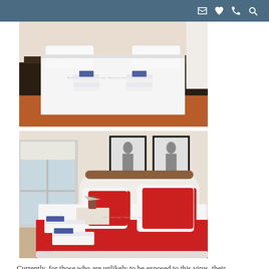[Figure (photo): Hotel room bed with white bedding, two folded towel sets placed on the bed, flanked by dark wooden nightstands, on an orange rug]
[Figure (photo): Hotel room with white bed frame featuring wood accent, red pillows and red bed runner, window with blind, lamp on nightstand, framed artwork on wall, folded towels on bed]
Currently, for those who are unlikely to be exposed to this virus, their immediate health risk from COVID remains side and low. For